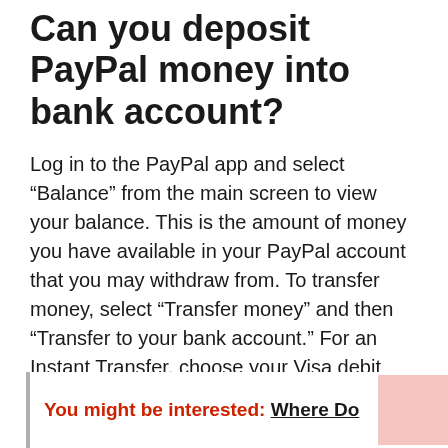Can you deposit PayPal money into bank account?
Log in to the PayPal app and select “Balance” from the main screen to view your balance. This is the amount of money you have available in your PayPal account that you may withdraw from. To transfer money, select “Transfer money” and then “Transfer to your bank account.” For an Instant Transfer, choose your Visa debit card, or link it if you haven’t already, and then hit the next button.
You might be interested: Where Do